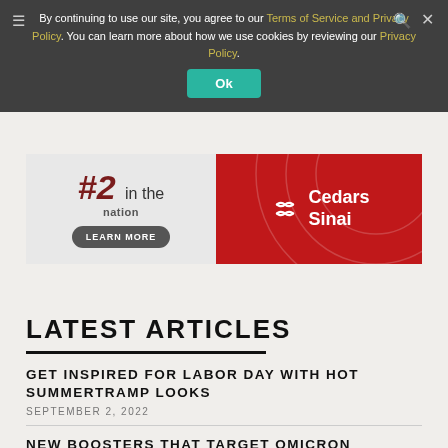By continuing to use our site, you agree to our Terms of Service and Privacy Policy. You can learn more about how we use cookies by reviewing our Privacy Policy.
Ok
[Figure (infographic): Cedars Sinai advertisement banner showing #2 in the nation with Learn More button and red Cedars Sinai logo]
LATEST ARTICLES
GET INSPIRED FOR LABOR DAY WITH HOT SUMMERTRAMP LOOKS
SEPTEMBER 2, 2022
NEW BOOSTERS THAT TARGET OMICRON VARIANT WILL BE ROLLED OUT IN L.A.